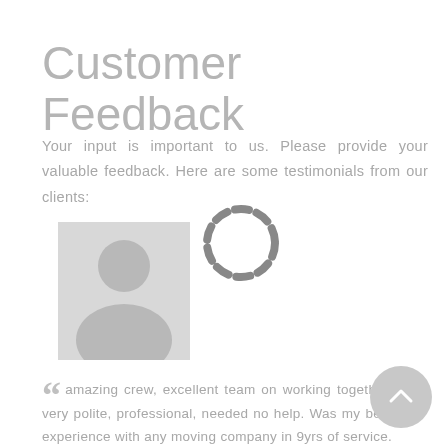Customer Feedback
Your input is important to us. Please provide your valuable feedback. Here are some testimonials from our clients:
[Figure (illustration): Gray placeholder avatar image showing a generic person silhouette (head and shoulders) on a light gray background]
[Figure (other): Dashed circle spinner/loading indicator in gray]
“ amazing crew, excellent team on working together, very polite, professional, needed no help. Was my best experience with any moving company in 9yrs of service. A++ ”